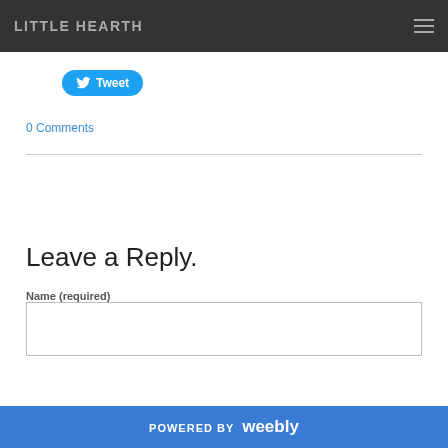LITTLE HEARTH
[Figure (other): Twitter Tweet button — blue pill-shaped button with bird icon and 'Tweet' text]
0 Comments
Leave a Reply.
Name (required)
[Figure (other): Text input field for Name (required)]
POWERED BY weebly